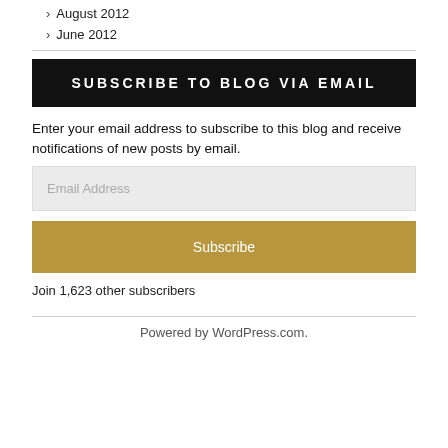August 2012
June 2012
SUBSCRIBE TO BLOG VIA EMAIL
Enter your email address to subscribe to this blog and receive notifications of new posts by email.
Email Address
Subscribe
Join 1,623 other subscribers
Powered by WordPress.com.